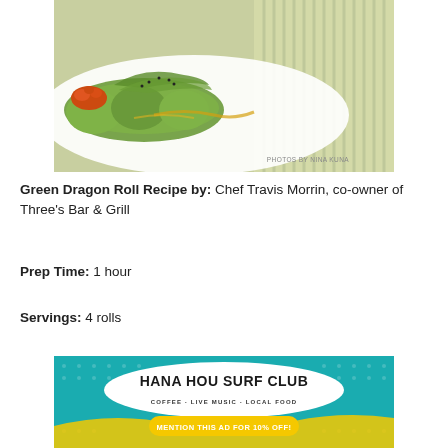[Figure (photo): Sushi green dragon rolls on a white plate with orange roe and avocado topping, on a green bamboo mat background. Photo credit: PHOTOS BY NINA KUNA]
Green Dragon Roll Recipe by: Chef Travis Morrin, co-owner of Three's Bar & Grill
Prep Time: 1 hour
Servings: 4 rolls
[Figure (illustration): Advertisement for Hana Hou Surf Club. Teal background with dotted pattern. White oval badge with text 'HANA HOU SURF CLUB' in bold black letters. Below: 'COFFEE · LIVE MUSIC · LOCAL FOOD'. Yellow button: 'MENTION THIS AD FOR 10% OFF!']